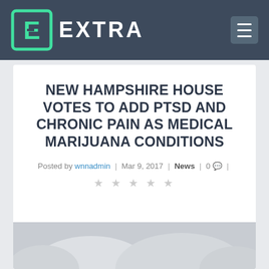EXTRA
NEW HAMPSHIRE HOUSE VOTES TO ADD PTSD AND CHRONIC PAIN AS MEDICAL MARIJUANA CONDITIONS
Posted by wnnadmin | Mar 9, 2017 | News | 0 |
[Figure (photo): Bottom strip showing partial image of medical/health related photo]